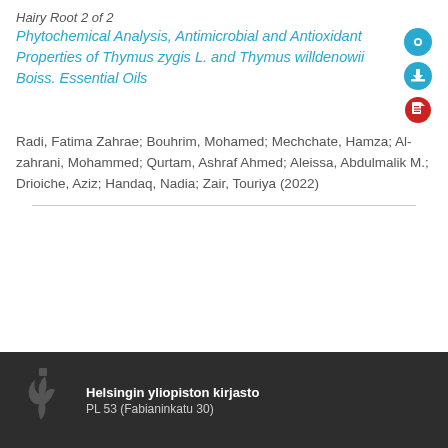Hairy Root 2 of 2
Phytochemical Analysis, Antimicrobial and Antioxidant Properties of Thymus zygis L. and Thymus willdenowii Boiss. Essential Oils
Radi, Fatima Zahrae; Bouhrim, Mohamed; Mechchate, Hamza; Al-zahrani, Mohammed; Qurtam, Ashraf Ahmed; Aleissa, Abdulmalik M.; Drioiche, Aziz; Handaq, Nadia; Zair, Touriya (2022)
Helsingin yliopiston kirjasto
PL 53 (Fabianinkatu 30)